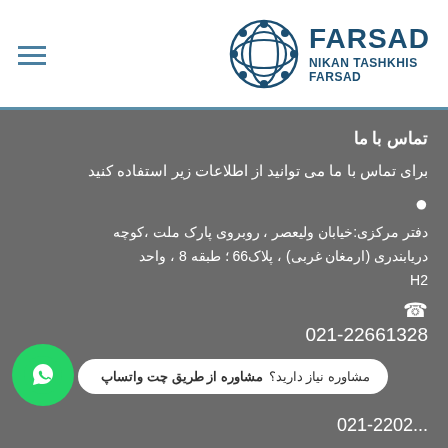FARSAD NIKAN TASHKHIS FARSAD
تماس با ما
برای تماس با ما می توانید از اطلاعات زیر استفاده کنید
دفتر مرکزی:خیابان ولیعصر ، روبروی پارک ملت ،کوچه دریابندری (ارمغان غربی) ، پلاک66 ؛ طبقه 8 ، واحد H2
021-22661328
مشاوره نیاز دارید؟ مشاوره از طریق چت واتساپ
021-2202...